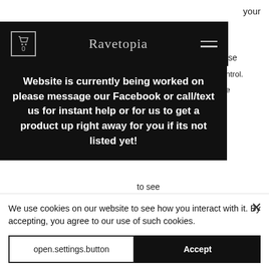your
[Figure (screenshot): Ravetopia website navigation bar with cart icon (0), brand name 'Ravetopia', and hamburger menu on black background]
Website is currently being worked on please message our Facebook or call/text us for instant help or for us to get a product up right away for you if its not listed yet!
Need custom work done? Please contact us our specialty is taking artists merch to the next level
through our Pixel Pro Glasses are lit. When wearing the glasses you will be able to see some of the light from the LED but it will not i...
We use cookies on our website to see how you interact with it. By accepting, you agree to our use of such cookies.
open.settings.button
Accept